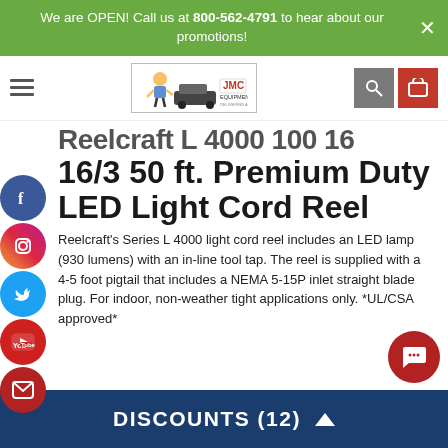We are OPEN! Call us at 800-562-4791 to hear about our promotions!
[Figure (logo): JMC Equipment logo with cartoon mechanic and car]
Reelcraft L 4000 100 16/3 50 ft. Premium Duty LED Light Cord Reel
Reelcraft's Series L 4000 light cord reel includes an LED lamp (930 lumens) with an in-line tool tap. The reel is supplied with a 4-5 foot pigtail that includes a NEMA 5-15P inlet straight blade plug. For indoor, non-weather tight applications only. *UL/CSA approved*
DISCOUNTS (12)